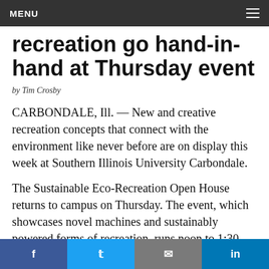MENU
recreation go hand-in-hand at Thursday event
by Tim Crosby
CARBONDALE, Ill. — New and creative recreation concepts that connect with the environment like never before are on display this week at Southern Illinois University Carbondale.
The Sustainable Eco-Recreation Open House returns to campus on Thursday. The event, which showcases novel machines and sustainably powered forms of recreation, runs noon to 1:30 p.m. in the rotunda outside the John C. Guyon Auditorium at